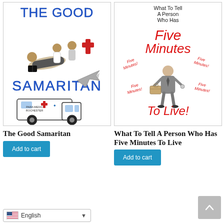[Figure (illustration): Book cover for 'The Good Samaritan' showing blue text title at top, illustration of people performing first aid on a person, text 'SAMARITAN' in blue at bottom, and an ambulance labeled 'PARA MEDIC ROCHESTER']
[Figure (illustration): Book cover for 'What To Tell A Person Who Has Five Minutes To Live' showing a man in a suit with a briefcase surrounded by red italic text 'Five Minutes!' repeated around him, with 'Five Minutes' in large red text at top and 'To Live!' in large red text at bottom]
The Good Samaritan
What To Tell A Person Who Has Five Minutes To Live
Add to cart
Add to cart
English